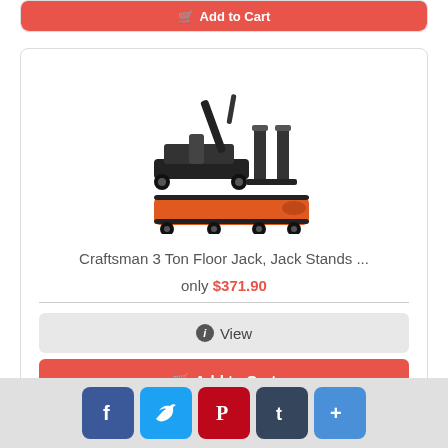[Figure (other): Partial product card with Add to Cart button at top, cut off]
[Figure (photo): Craftsman 3 Ton Floor Jack, Jack Stands, and creeper/roller board product image]
Craftsman 3 Ton Floor Jack, Jack Stands ...
only $371.90
View
Add to Cart
[Figure (other): Social media share bar with Facebook, Twitter, Pinterest, Tumblr, and More buttons]